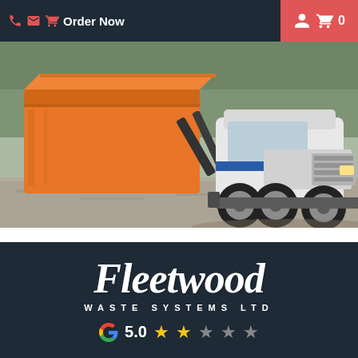Order Now  0
[Figure (photo): A white and blue Peterbilt roll-off truck unloading or loading a large orange dumpster/bin on a gravel lot with trees in the background.]
Fleetwood WASTE SYSTEMS LTD
5.0 ★★☆★★